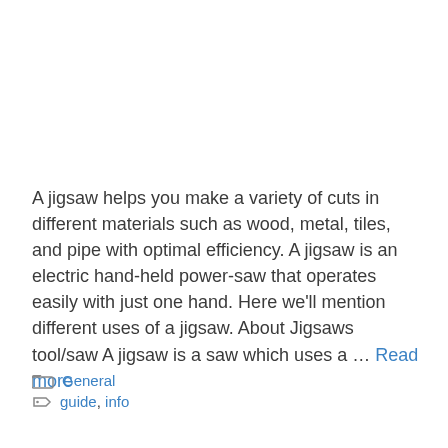A jigsaw helps you make a variety of cuts in different materials such as wood, metal, tiles, and pipe with optimal efficiency. A jigsaw is an electric hand-held power-saw that operates easily with just one hand. Here we'll mention different uses of a jigsaw. About Jigsaws tool/saw A jigsaw is a saw which uses a … Read more
General
guide, info